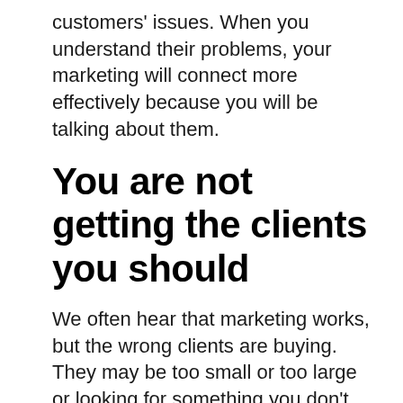customers' issues. When you understand their problems, your marketing will connect more effectively because you will be talking about them.
You are not getting the clients you should
We often hear that marketing works, but the wrong clients are buying. They may be too small or too large or looking for something you don't offer. Often these clients drain your time with conversations and meetings without buying. Alternatively, they may